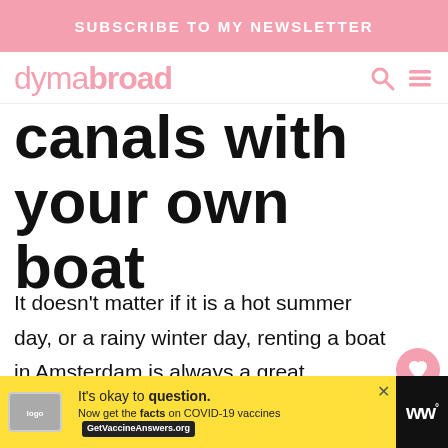SUBSCRIBE TO MY NEWSLETTER
dymabroad
canals with your own boat
It doesn't matter if it is a hot summer day, or a rainy winter day, renting a boat in Amsterdam is always a great experience! The canals in Amsterdam make it possible to sail through the whole city center.
It's okay to question. Now get the facts on COVID-19 vaccines GetVaccineAnswers.org